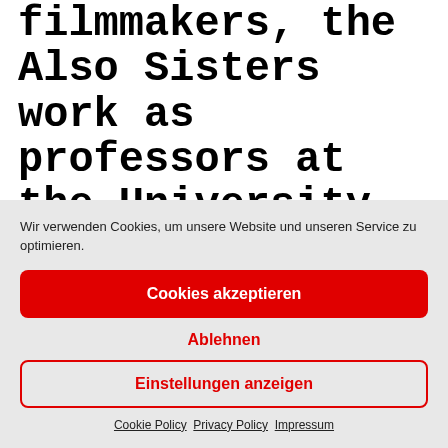filmmakers, the Also Sisters work as professors at the University of Utah's Film and Media Arts
Wir verwenden Cookies, um unsere Website und unseren Service zu optimieren.
Cookies akzeptieren
Ablehnen
Einstellungen anzeigen
Cookie Policy  Privacy Policy  Impressum